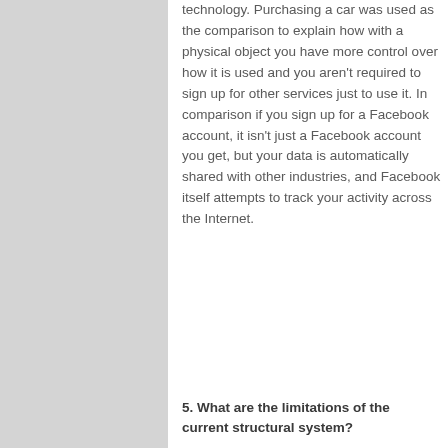technology. Purchasing a car was used as the comparison to explain how with a physical object you have more control over how it is used and you aren't required to sign up for other services just to use it. In comparison if you sign up for a Facebook account, it isn't just a Facebook account you get, but your data is automatically shared with other industries, and Facebook itself attempts to track your activity across the Internet.
5. What are the limitations of the current structural system?